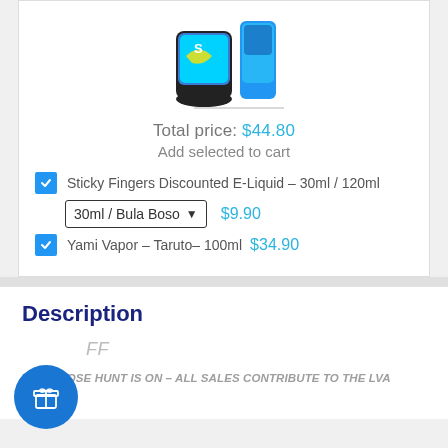[Figure (photo): Product image showing two e-liquid bottles, one with black base and colorful label, another blue bottle]
Total price: $44.80
Add selected to cart
Sticky Fingers Discounted E-Liquid - 30ml / 120ml
30ml / Bula Boso   $9.90
Yami Vapor - Taruto- 100ml  $34.90
Description
FF
THE GOOSE HUNT IS ON - ALL SALES CONTRIBUTE TO THE LVA